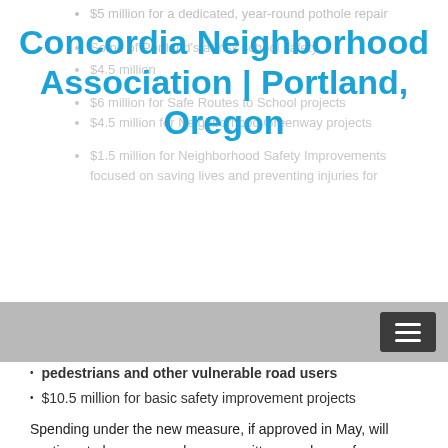$5 million for a dedicated, year-round pothole repair
Some of Portland's at-risk school safety
$4.5 million for [overlapping text]
$6 million for Safe Routes to School projects
$4.5 million for Neighborhood Greenway projects
$1.5 million for Neighborhood Safety Improvements focused on saving lives and preventing injuries for pedestrians and other vulnerable road users
Concordia Neighborhood Association | Portland, Oregon
$10.5 million for basic safety improvement projects
Spending under the new measure, if approved in May, will continue to be overseen by a committee, made up of representatives of multiple communities with a stake in Portland's streets and roads.
When the original gas tax was passed in 2016, it established the city's first dedicated fund for street repairs and safety improvements. At that time, the city faced a $2 billion street repair backlog. The Heavy Vehicle Use Tax that was passed at the same time, or...